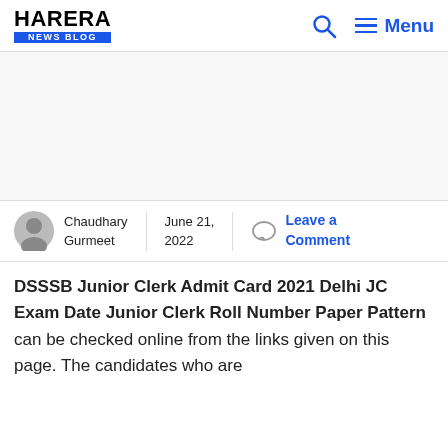HARERA NEWS BLOG | Menu
[Figure (other): Advertisement placeholder area]
Chaudhary Gurmeet | June 21, 2022 | Leave a Comment
DSSSB Junior Clerk Admit Card 2021 Delhi JC Exam Date Junior Clerk Roll Number Paper Pattern can be checked online from the links given on this page. The candidates who are